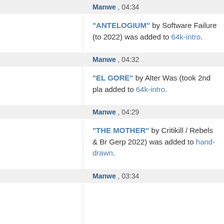Manwe , 04:34
"ANTELOGIUM" by Software Failure (to 2022) was added to 64k-intro.
Manwe , 04:32
"EL GORE" by Alter Was (took 2nd pla added to 64k-intro.
Manwe , 04:29
"THE MOTHER" by Critikill / Rebels & Br Gerp 2022) was added to hand-drawn.
Manwe , 03:34